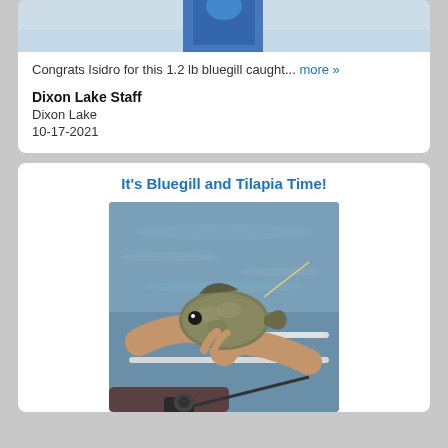[Figure (photo): Cropped top of a photo showing a person in blue clothing outdoors]
Congrats Isidro for this 1.2 lb bluegill caught... more »
Dixon Lake Staff
Dixon Lake
10-17-2021
It's Bluegill and Tilapia Time!
[Figure (photo): Person holding a bluegill fish with both hands on a boat, water visible in the background, fishing rod visible at bottom]